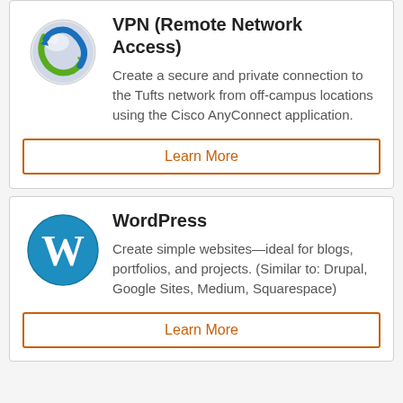VPN (Remote Network Access)
Create a secure and private connection to the Tufts network from off-campus locations using the Cisco AnyConnect application.
Learn More
[Figure (logo): Cisco AnyConnect VPN logo - globe with green and blue swoosh arrows]
WordPress
Create simple websites—ideal for blogs, portfolios, and projects. (Similar to: Drupal, Google Sites, Medium, Squarespace)
Learn More
[Figure (logo): WordPress logo - blue circle with white W letter]